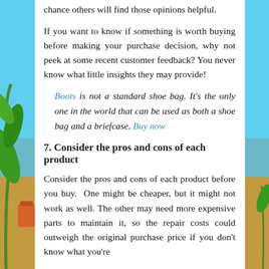chance others will find those opinions helpful.
If you want to know if something is worth buying before making your purchase decision, why not peek at some recent customer feedback? You never know what little insights they may provide!
Boots is not a standard shoe bag. It's the only one in the world that can be used as both a shoe bag and a briefcase. Buy now
7. Consider the pros and cons of each product
Consider the pros and cons of each product before you buy. One might be cheaper, but it might not work as well. The other may need more expensive parts to maintain it, so the repair costs could outweigh the original purchase price if you don't know what you're